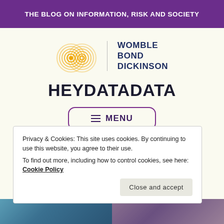THE BLOG ON INFORMATION, RISK AND SOCIETY
[Figure (logo): Womble Bond Dickinson logo with golden concentric circle motif and dark blue text]
HEYDATADATA
≡ MENU
Privacy & Cookies: This site uses cookies. By continuing to use this website, you agree to their use.
To find out more, including how to control cookies, see here: Cookie Policy
Close and accept